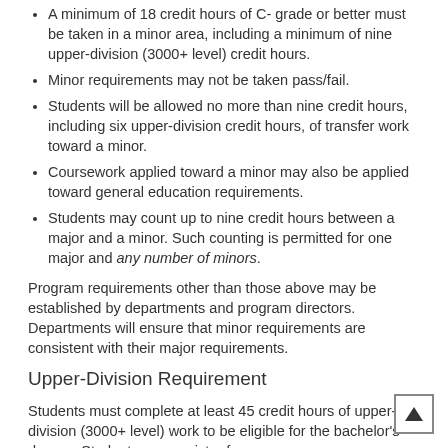A minimum of 18 credit hours of C- grade or better must be taken in a minor area, including a minimum of nine upper-division (3000+ level) credit hours.
Minor requirements may not be taken pass/fail.
Students will be allowed no more than nine credit hours, including six upper-division credit hours, of transfer work toward a minor.
Coursework applied toward a minor may also be applied toward general education requirements.
Students may count up to nine credit hours between a major and a minor. Such counting is permitted for one major and any number of minors.
Program requirements other than those above may be established by departments and program directors. Departments will ensure that minor requirements are consistent with their major requirements.
Upper-Division Requirement
Students must complete at least 45 credit hours of upper-division (3000+ level) work to be eligible for the bachelor's degree. Students may register for upper